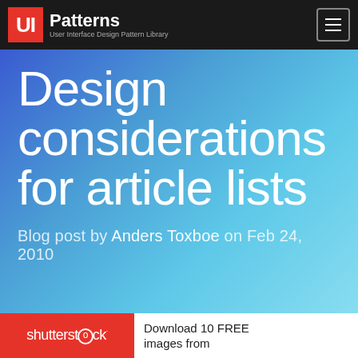UI Patterns — User Interface Design Pattern Library
Design considerations for article lists
Blog post by Anders Toxboe on Feb 24, 2010
[Figure (logo): Shutterstock logo in red box]
Download 10 FREE images from